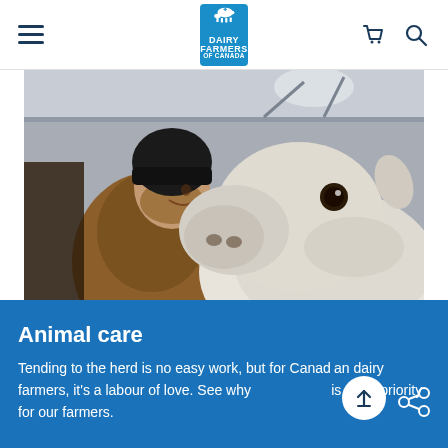Dairy Farmers of Canada – navigation header with hamburger menu, logo, cart and search icons
[Figure (photo): A male dairy farmer wearing a black beanie and brown jacket leans close to a white cow in a barn; the cow extends its muzzle toward his face in an affectionate gesture.]
Animal care
Tending to the herd is no easy work, but for Canadian dairy farmers, it's a labour of love. See why animal care is a top priority for our farmers.